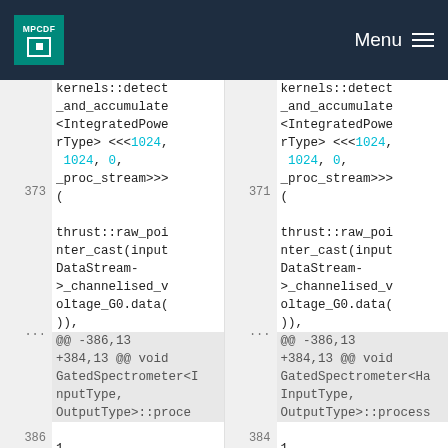MPCDF — Menu
kernels::detect_and_accumulate<IntegratedPowerType> <<<1024, 1024, 0, _proc_stream>>>(
373
thrust::raw_pointer_cast(inputDataStream->_channelised_voltage_G0.data()),
...
@@ -386,13 +384,13 @@ void GatedSpectrometer<InputType, OutputType>::proce
386
1,

kernels::detect_and_accumulate<IntegratedPowerType> <<<1024, 1024, 0, _proc_stream>>>(
371
thrust::raw_pointer_cast(inputDataStream->_channelised_voltage_G0.data()),
...
@@ -386,13 +384,13 @@ void GatedSpectrometer<Han InputType, OutputType>::process
384
1,